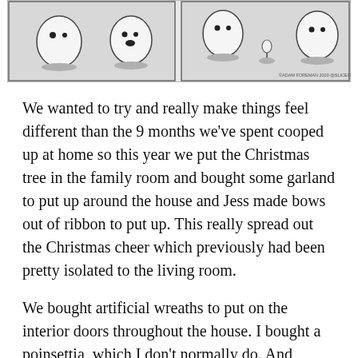[Figure (illustration): Two-panel comic strip showing cartoon marshmallow characters. Left panel: two marshmallow characters facing each other. Right panel: one marshmallow character stands near what appears to be a small object on the ground, with another marshmallow to the right. Copyright notice reads: ©ADAM FOREMAN 2020 @SLICEOFMALLOW]
We wanted to try and really make things feel different than the 9 months we've spent cooped up at home so this year we put the Christmas tree in the family room and bought some garland to put up around the house and Jess made bows out of ribbon to put up. This really spread out the Christmas cheer which previously had been pretty isolated to the living room.
We bought artificial wreaths to put on the interior doors throughout the house. I bought a poinsettia, which I don't normally do. And